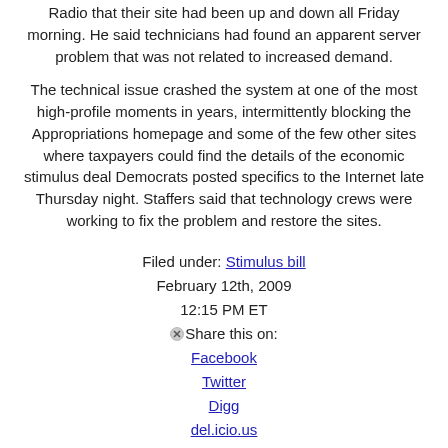Radio that their site had been up and down all Friday morning. He said technicians had found an apparent server problem that was not related to increased demand.
The technical issue crashed the system at one of the most high-profile moments in years, intermittently blocking the Appropriations homepage and some of the few other sites where taxpayers could find the details of the economic stimulus deal Democrats posted specifics to the Internet late Thursday night. Staffers said that technology crews were working to fix the problem and restore the sites.
Filed under: Stimulus bill
February 12th, 2009
12:15 PM ET
Share this on:
Facebook
Twitter
Digg
del.icio.us
reddit
MySpace
StumbleUpon
Comments (54 comments)